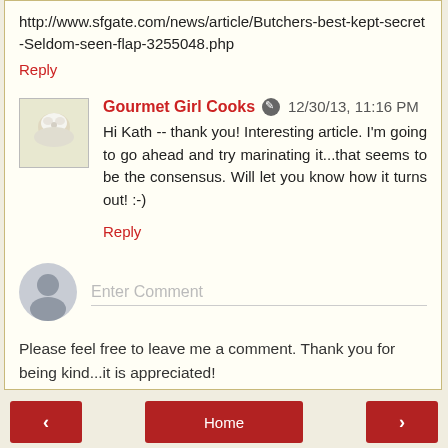http://www.sfgate.com/news/article/Butchers-best-kept-secret-Seldom-seen-flap-3255048.php
Reply
Gourmet Girl Cooks  12/30/13, 11:16 PM
Hi Kath -- thank you! Interesting article. I'm going to go ahead and try marinating it...that seems to be the consensus. Will let you know how it turns out! :-)
Reply
Enter Comment
Please feel free to leave me a comment. Thank you for being kind...it is appreciated!
< Home >